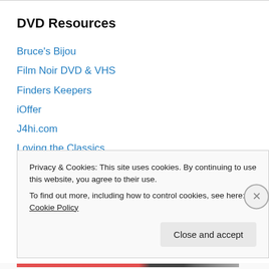DVD Resources
Bruce's Bijou
Film Noir DVD & VHS
Finders Keepers
iOffer
J4hi.com
Loving the Classics
Modcinema
Pressplayhouse
Sell.com
The Video Beat
Privacy & Cookies: This site uses cookies. By continuing to use this website, you agree to their use.
To find out more, including how to control cookies, see here: Cookie Policy